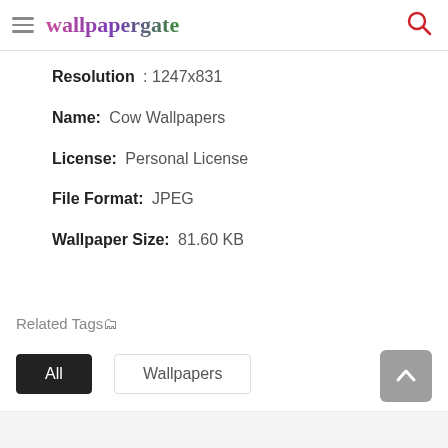wallpapergate
Resolution : 1247x831
Name: Cow Wallpapers
License: Personal License
File Format: JPEG
Wallpaper Size: 81.60 KB
Related Tags🗂
All
Wallpapers